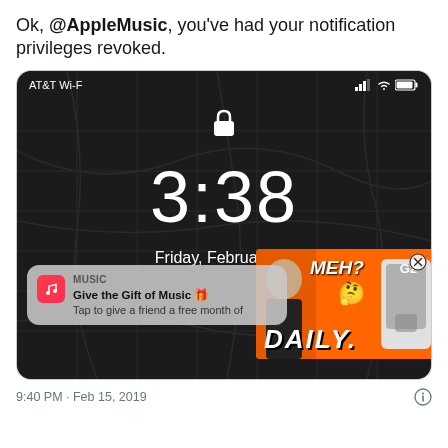Ok, @AppleMusic, you've had your notification privileges revoked.
[Figure (screenshot): iPhone lock screen showing AT&T Wi-F status bar, time 3:38, date Friday February 15, with an Apple Music notification 'Give the Gift of Music – Tap to give a friend a free month of…' and an overlapping YouTube/tech video ad showing 'MEH?' text and 'DAILY.' text on orange background with a phone and person visible. A close button X is visible top right of the ad overlay.]
9:40 PM · Feb 15, 2019